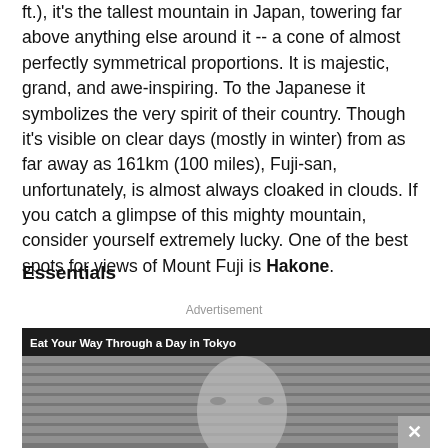ft.), it's the tallest mountain in Japan, towering far above anything else around it -- a cone of almost perfectly symmetrical proportions. It is majestic, grand, and awe-inspiring. To the Japanese it symbolizes the very spirit of their country. Though it's visible on clear days (mostly in winter) from as far away as 161km (100 miles), Fuji-san, unfortunately, is almost always cloaked in clouds. If you catch a glimpse of this mighty mountain, consider yourself extremely lucky. One of the best spots for views of Mount Fuji is Hakone.
Essentials
Advertisement
[Figure (screenshot): Video thumbnail showing a person's face with text overlay 'Eat Your Way Through a Day in Tokyo' and a close button]